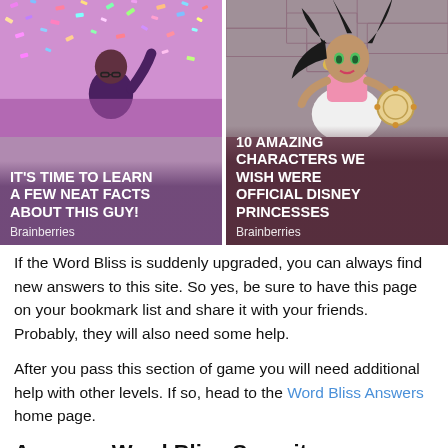[Figure (photo): Two side-by-side advertisement cards. Left card: man celebrating with confetti in background, title 'IT'S TIME TO LEARN A FEW NEAT FACTS ABOUT THIS GUY!' by Brainberries. Right card: animated Disney-style princess character, title '10 AMAZING CHARACTERS WE WISH WERE OFFICIAL DISNEY PRINCESSES' by Brainberries.]
If the Word Bliss is suddenly upgraded, you can always find new answers to this site. So yes, be sure to have this page on your bookmark list and share it with your friends. Probably, they will also need some help.
After you pass this section of game you will need additional help with other levels. If so, head to the Word Bliss Answers home page.
Answers Word Bliss Serenity